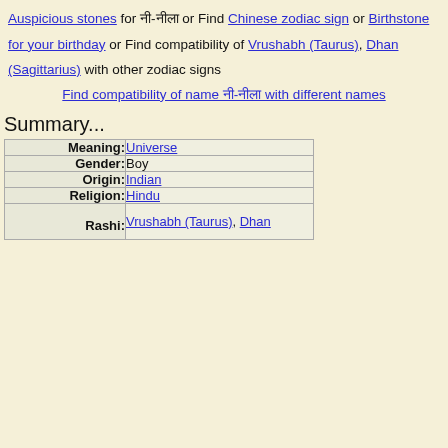Auspicious stones for नी-नीला or Find Chinese zodiac sign or Birthstone for your birthday or Find compatibility of Vrushabh (Taurus), Dhan (Sagittarius) with other zodiac signs
Find compatibility of name नी-नीला with different names
Summary...
|  |  |
| --- | --- |
| Meaning: | Universe |
| Gender: | Boy |
| Origin: | Indian |
| Religion: | Hindu |
| Rashi: | Vrushabh (Taurus), Dhan |